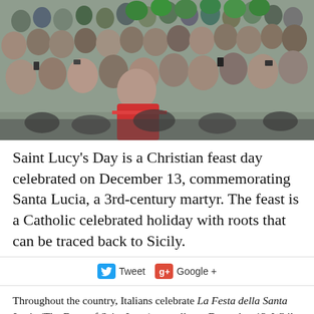[Figure (photo): Large outdoor crowd of people, many photographing something out of frame. Several people wearing green hats visible in the background. A person with a red scarf is prominent in the foreground center.]
Saint Lucy's Day is a Christian feast day celebrated on December 13, commemorating Santa Lucia, a 3rd-century martyr. The feast is a Catholic celebrated holiday with roots that can be traced back to Sicily.
Tweet  Google +
Throughout the country, Italians celebrate La Festa della Santa Lucia (The Feast of Saint Lucy) annually on December 13. While Santa Lucia is most popular in Scandinavia, she was born, lived, and died a martyr in Sicily. Therefore, special devotions for her take place up and down the peninsula, specifically in the north, but